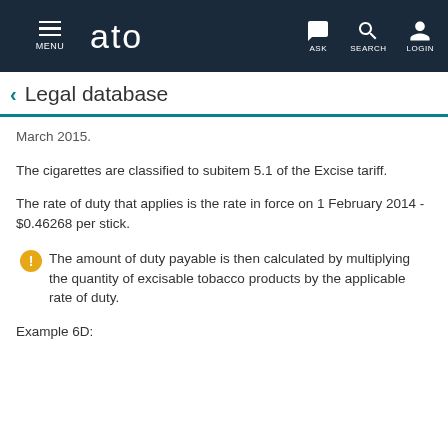ato — MENU | ASK | SEARCH | LOGIN
Legal database
March 2015.
The cigarettes are classified to subitem 5.1 of the Excise tariff.
The rate of duty that applies is the rate in force on 1 February 2014 - $0.46268 per stick.
The amount of duty payable is then calculated by multiplying the quantity of excisable tobacco products by the applicable rate of duty.
Example 6D: